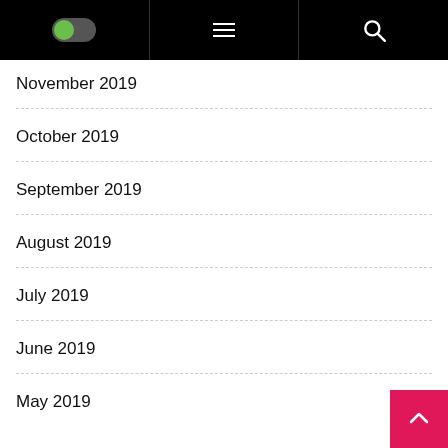Navigation bar with toggle, menu, and search icons
November 2019
October 2019
September 2019
August 2019
July 2019
June 2019
May 2019